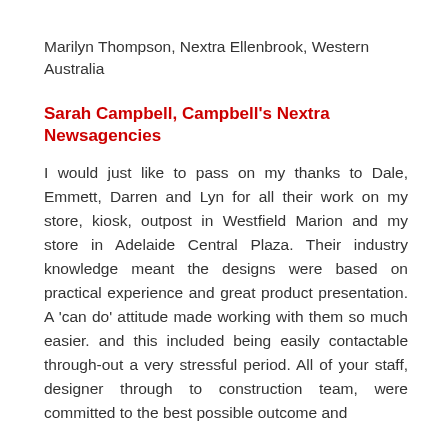Marilyn Thompson, Nextra Ellenbrook, Western Australia
Sarah Campbell, Campbell's Nextra Newsagencies
I would just like to pass on my thanks to Dale, Emmett, Darren and Lyn for all their work on my store, kiosk, outpost in Westfield Marion and my store in Adelaide Central Plaza. Their industry knowledge meant the designs were based on practical experience and great product presentation. A 'can do' attitude made working with them so much easier. and this included being easily contactable through-out a very stressful period. All of your staff, designer through to construction team, were committed to the best possible outcome and